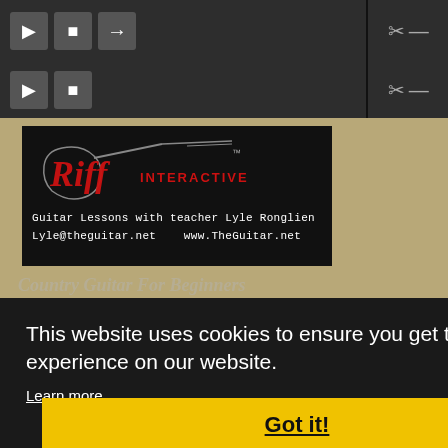[Figure (screenshot): Media player toolbar with play, stop, and arrow buttons on dark gray background]
[Figure (screenshot): Second media player toolbar with play and stop buttons on dark gray background]
[Figure (logo): Riff Interactive logo with guitar silhouette in red script lettering on black background, with text: Guitar Lessons with teacher Lyle Ronglien, Lyle@theguitar.net, www.TheGuitar.net]
Country Guitar For Beginners
This website uses cookies to ensure you get the best experience on our website.
Learn more
There are no ratings yet
Got it!
Copyright (c) 2022 Riff Interactive